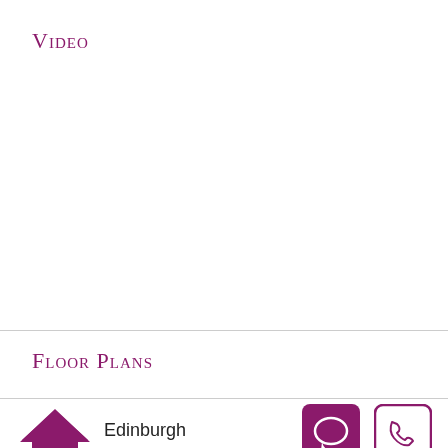Video
Floor Plans
[Figure (illustration): Home icon in purple/magenta color]
Edinburgh
[Figure (illustration): Chat/speech bubble button icon in purple square]
[Figure (illustration): Phone icon in purple outline square]